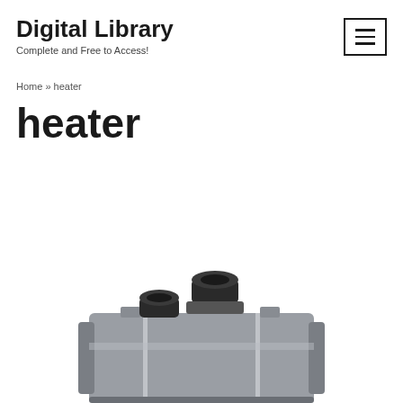Digital Library
Complete and Free to Access!
Home » heater
heater
[Figure (photo): A compact grey industrial heater unit with black cylindrical ports/fittings on top, viewed from slightly above. The unit has a rectangular body with reinforced corners and visible panel seams.]